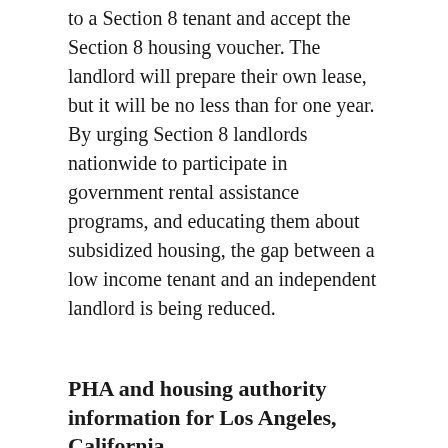to a Section 8 tenant and accept the Section 8 housing voucher. The landlord will prepare their own lease, but it will be no less than for one year. By urging Section 8 landlords nationwide to participate in government rental assistance programs, and educating them about subsidized housing, the gap between a low income tenant and an independent landlord is being reduced.
PHA and housing authority information for Los Angeles, California
Housing Authority-Kings County
680 N Douty St Hanford, CA 93230